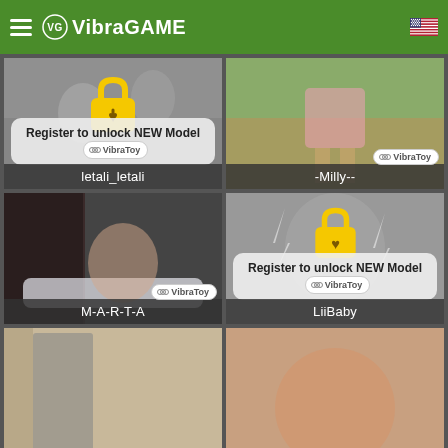VibraGAME
[Figure (photo): Black and white photo of two women, locked with a yellow padlock icon and register prompt. Label: letali_letali]
[Figure (photo): Color photo of woman in pink skirt outdoors. Label: -Milly--]
[Figure (photo): Color photo of woman in bathtub. Label: M-A-R-T-A]
[Figure (photo): Grayscale photo of woman, locked with a yellow padlock icon and register prompt. Label: LiiBaby]
[Figure (photo): Partial photo - bottom row left, indoor scene]
[Figure (photo): Partial photo - bottom row right, woman torso]